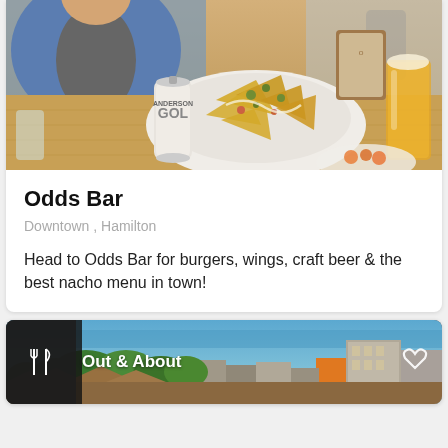[Figure (photo): Restaurant table scene with nachos on a plate, an Anderson Gold beer can, and a glass of beer. A person in a denim jacket and grey shirt is seated behind.]
Odds Bar
Downtown , Hamilton
Head to Odds Bar for burgers, wings, craft beer & the best nacho menu in town!
[Figure (photo): Aerial/elevated view of a city neighbourhood with trees and buildings, overlaid with a dark icon panel showing a fork and knife icon and the label 'Out & About', plus a heart icon on the right.]